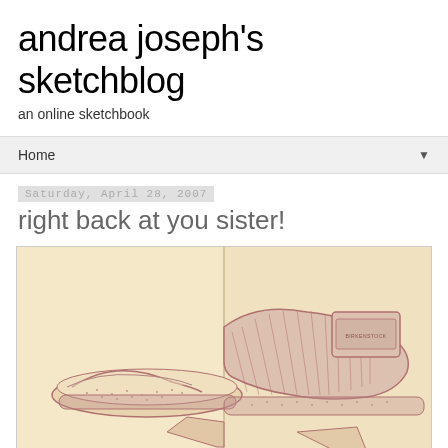andrea joseph's sketchblog
an online sketchbook
Home ▼
Saturday, April 28, 2007
right back at you sister!
[Figure (illustration): Sketchbook drawing of a Birkenstock sandal shown split across two sketchbook pages. The left page shows the sole/footbed and the right page shows the upper strap portion with the Birkenstock buckle label. The drawing is done in reddish-brown ink on cream/beige sketchbook paper. Part of another sketch is visible at the bottom.]